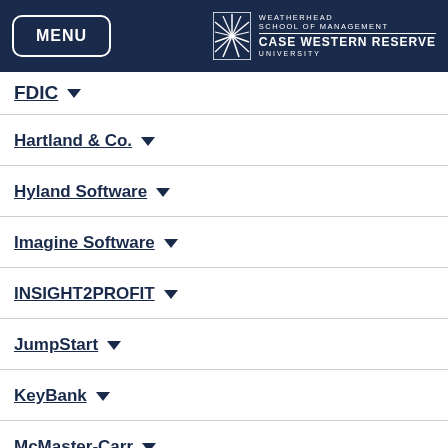MENU | WEATHERHEAD SCHOOL OF MANAGEMENT CASE WESTERN RESERVE UNIVERSITY
FDIC
Hartland & Co.
Hyland Software
Imagine Software
INSIGHT2PROFIT
JumpStart
KeyBank
McMaster-Carr